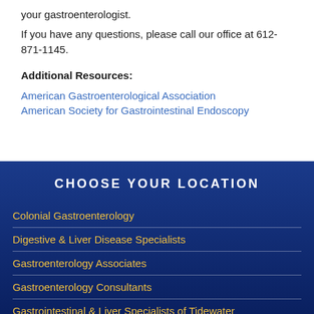your gastroenterologist.
If you have any questions, please call our office at 612-871-1145.
Additional Resources:
American Gastroenterological Association
American Society for Gastrointestinal Endoscopy
CHOOSE YOUR LOCATION
Colonial Gastroenterology
Digestive & Liver Disease Specialists
Gastroenterology Associates
Gastroenterology Consultants
Gastrointestinal & Liver Specialists of Tidewater